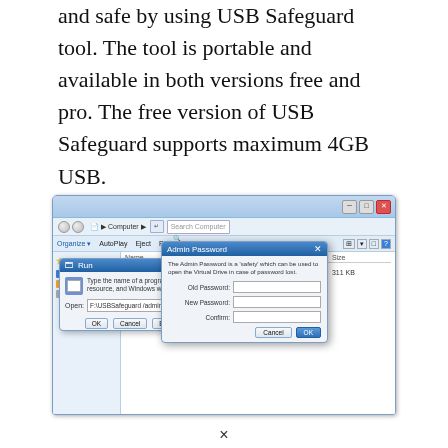and safe by using USB Safeguard tool. The tool is portable and available in both versions free and pro. The free version of USB Safeguard supports maximum 4GB USB.
[Figure (screenshot): Windows Explorer window showing USBSafeguard application file (16/01/2014 23:14, Application, 311 KB), with a Run dialog open showing 'F:\USBSafeguard /admin' in the Open field, and an Admin Password dialog box overlapping, containing fields for Old Password, New Password, and Confirm, with Cancel and OK buttons.]